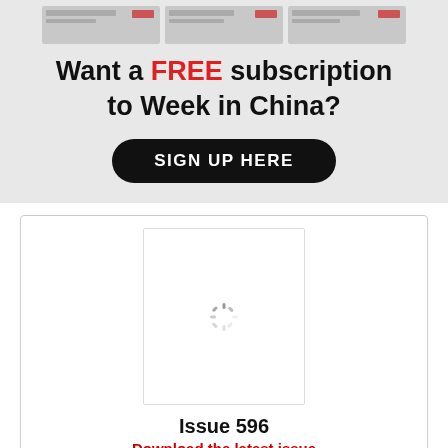[Figure (screenshot): Three magazine cover thumbnails in a row at the top banner area]
Want a FREE subscription to Week in China?
SIGN UP HERE
[Figure (screenshot): Loading spinner inside magazine cover placeholder]
Issue 596
Download the latest issue